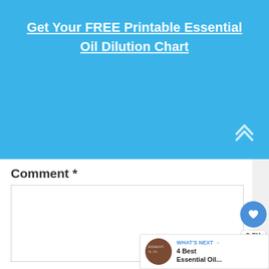Get Your FREE Printable Essential Oil Dilution Chart
Comment *
[Figure (screenshot): Empty comment text area input box]
Name *
[Figure (screenshot): Empty name text input box]
Email *
[Figure (screenshot): Empty email text input box (partial)]
[Figure (infographic): Sidebar with heart like button, 3.7K count, and share button]
[Figure (infographic): What's Next widget showing '4 Best Essential Oil...' with thumbnail]